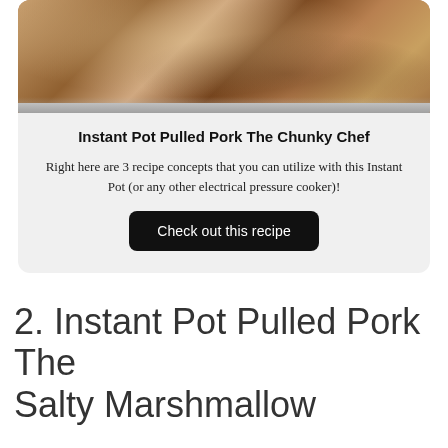[Figure (photo): Top-down view of food cooking in an Instant Pot pressure cooker, showing meat and sauce swirled together, with a silver rim visible at the bottom of the image.]
Instant Pot Pulled Pork The Chunky Chef
Right here are 3 recipe concepts that you can utilize with this Instant Pot (or any other electrical pressure cooker)!
Check out this recipe
2. Instant Pot Pulled Pork The Salty Marshmallow